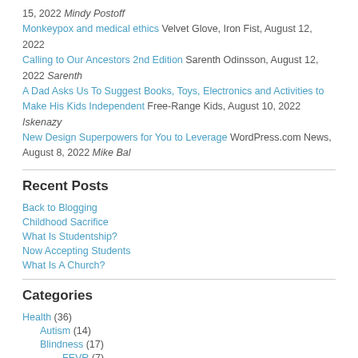15, 2022 Mindy Postoff
Monkeypox and medical ethics Velvet Glove, Iron Fist, August 12, 2022
Calling to Our Ancestors 2nd Edition Sarenth Odinsson, August 12, 2022 Sarenth
A Dad Asks Us To Suggest Books, Toys, Electronics and Activities to Make His Kids Independent Free-Range Kids, August 10, 2022 Iskenazy
New Design Superpowers for You to Leverage WordPress.com News, August 8, 2022 Mike Bal
Recent Posts
Back to Blogging
Childhood Sacrifice
What Is Studentship?
Now Accepting Students
What Is A Church?
Categories
Health (36)
Autism (14)
Blindness (17)
FEVR (7)